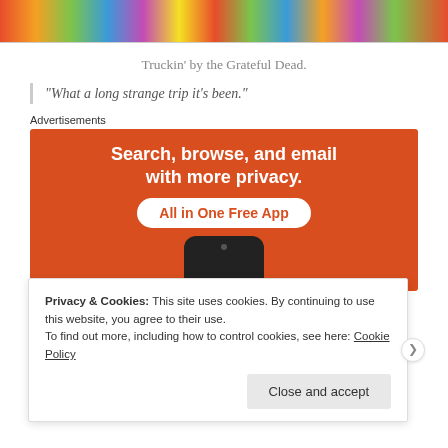[Figure (illustration): Colorful psychedelic banner image cropped at top]
Truckin’ by the Grateful Dead.
“What a long strange trip it’s been.”
Advertisements
[Figure (screenshot): Advertisement banner: Search, browse, and email with more privacy. All in One Free App. Shows a smartphone at the bottom on orange background.]
Privacy & Cookies: This site uses cookies. By continuing to use this website, you agree to their use.
To find out more, including how to control cookies, see here: Cookie Policy